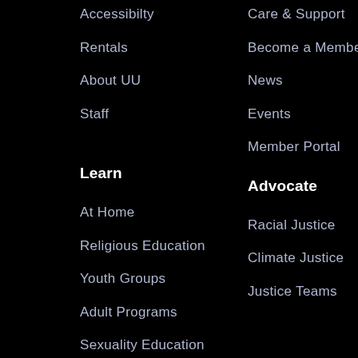Accessibilty
Care & Support
Rentals
Become a Member
About UU
News
Staff
Events
Member Portal
Learn
Advocate
At Home
Racial Justice
Religious Education
Climate Justice
Youth Groups
Justice Teams
Adult Programs
Sexuality Education